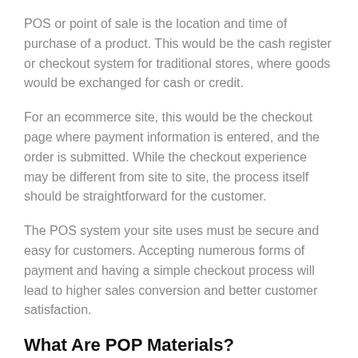POS or point of sale is the location and time of purchase of a product. This would be the cash register or checkout system for traditional stores, where goods would be exchanged for cash or credit.
For an ecommerce site, this would be the checkout page where payment information is entered, and the order is submitted. While the checkout experience may be different from site to site, the process itself should be straightforward for the customer.
The POS system your site uses must be secure and easy for customers. Accepting numerous forms of payment and having a simple checkout process will lead to higher sales conversion and better customer satisfaction.
What Are POP Materials?
POP marketing can be enhanced beyond product